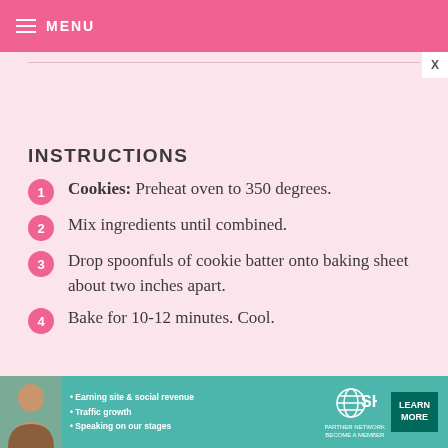MENU
INSTRUCTIONS
Cookies: Preheat oven to 350 degrees.
Mix ingredients until combined.
Drop spoonfuls of cookie batter onto baking sheet about two inches apart.
Bake for 10-12 minutes. Cool.
[Figure (infographic): SHE Partner Network advertisement banner with person photo, bullet points listing Earning site & social revenue, Traffic growth, Speaking on our stages, SHE logo, and LEARN MORE button]